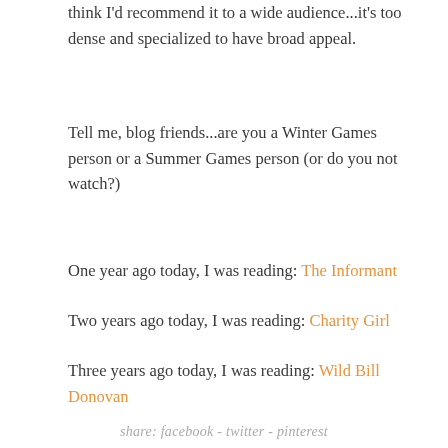think I'd recommend it to a wide audience...it's too dense and specialized to have broad appeal.
Tell me, blog friends...are you a Winter Games person or a Summer Games person (or do you not watch?)
One year ago today, I was reading: The Informant
Two years ago today, I was reading: Charity Girl
Three years ago today, I was reading: Wild Bill Donovan
share: facebook - twitter - pinterest